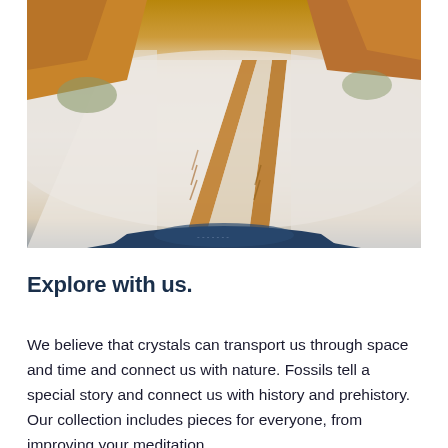[Figure (photo): Aerial/dashcam view of a snowy dirt road with tire tracks cutting through white snow and orange-brown mud/dirt, viewed from inside a vehicle. Rocky terrain and vegetation visible on the sides.]
Explore with us.
We believe that crystals can transport us through space and time and connect us with nature. Fossils tell a special story and connect us with history and prehistory. Our collection includes pieces for everyone, from improving your meditation